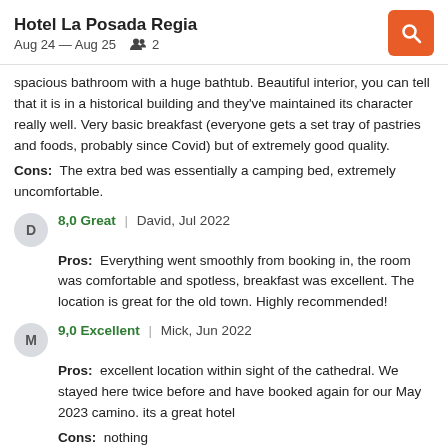Hotel La Posada Regia
Aug 24 — Aug 25  2
spacious bathroom with a huge bathtub. Beautiful interior, you can tell that it is in a historical building and they've maintained its character really well. Very basic breakfast (everyone gets a set tray of pastries and foods, probably since Covid) but of extremely good quality.
Cons:  The extra bed was essentially a camping bed, extremely uncomfortable.
8,0 Great  |  David, Jul 2022
Pros:  Everything went smoothly from booking in, the room was comfortable and spotless, breakfast was excellent. The location is great for the old town. Highly recommended!
9,0 Excellent  |  Mick, Jun 2022
Pros:  excellent location within sight of the cathedral. We stayed here twice before and have booked again for our May 2023 camino. its a great hotel
Cons:  nothing
8,0 Great  |  Aletta, Jun 2022